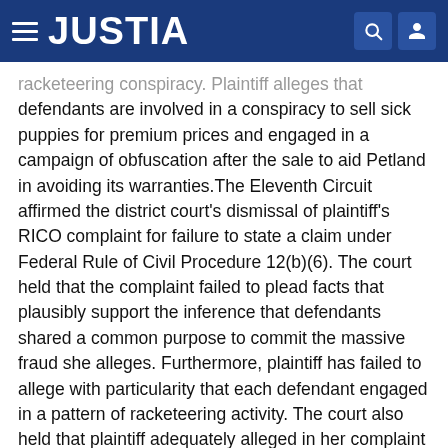JUSTIA
racketeering conspiracy. Plaintiff alleges that defendants are involved in a conspiracy to sell sick puppies for premium prices and engaged in a campaign of obfuscation after the sale to aid Petland in avoiding its warranties.The Eleventh Circuit affirmed the district court's dismissal of plaintiff's RICO complaint for failure to state a claim under Federal Rule of Civil Procedure 12(b)(6). The court held that the complaint failed to plead facts that plausibly support the inference that defendants shared a common purpose to commit the massive fraud she alleges. Furthermore, plaintiff has failed to allege with particularity that each defendant engaged in a pattern of racketeering activity. The court also held that plaintiff adequately alleged in her complaint that the Class Action Fairness Act vested the district court with original jurisdiction over her Georgia RICO claim. Therefore, the court vacated the portion of